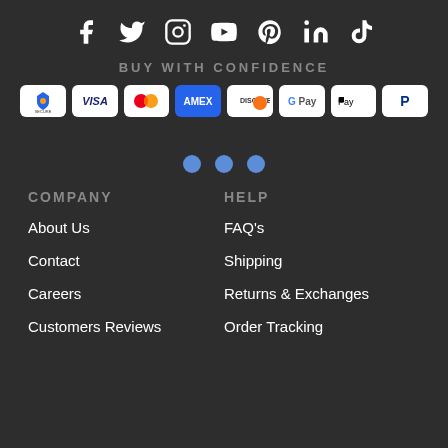[Figure (infographic): Social media icons row: Facebook, Twitter, Instagram, YouTube, Pinterest, LinkedIn, TikTok]
BUY WITH CONFIDENCE
[Figure (infographic): Payment method badges: Secure, Visa, Mastercard, Amex, Discover, Google Pay, Apple Pay, PayPal]
[Figure (infographic): Three blue dots decorative separator]
COMPANY
HELP
About Us
FAQ's
Contact
Shipping
Careers
Returns & Exchanges
Customers Reviews
Order Tracking